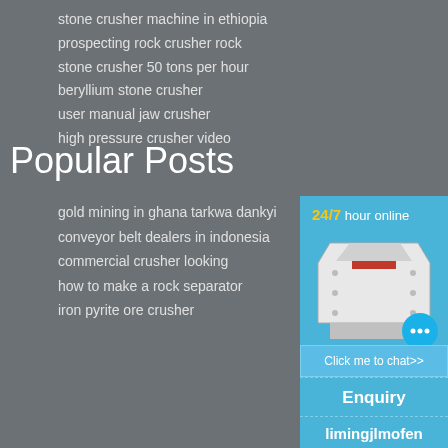stone crusher machine in ethiopia
prospecting rock crusher rock
stone crusher 50 tons per hour
beryllium stone crusher
user manual jaw crusher
high pressure crusher video
Popular Posts
gold mining in ghana tarkwa dankyi
conveyor belt dealers in indonesia
commercial crusher looking
how to make a rock separator
iron pyrite ore crusher
[Figure (infographic): Sidebar with 24/7 hour online label, stone crusher machine image, chat bubble icon, Click me to chat>> button, Enquiry section, and limingjlmofen text on blue background]